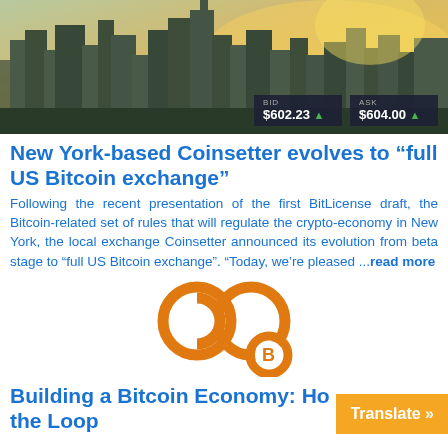[Figure (photo): Aerial/skyline view of New York City with golden light, overlaid with a trading ticker showing BID $602.23 (up arrow) and ASK $604.00 (up arrow)]
New York-based Coinsetter evolves to “full US Bitcoin exchange”
Following the recent presentation of the first BitLicense draft, the Bitcoin-related set of rules that will regulate the crypto-economy in New York, the local exchange Coinsetter announced its evolution from beta stage to “full US Bitcoin exchange”. “Today, we’re pleased ...read more
[Figure (logo): Orange infinity loop symbol with a Bitcoin ‘B’ circle at the bottom right]
Building a Bitcoin Economy: Ho... the Loop